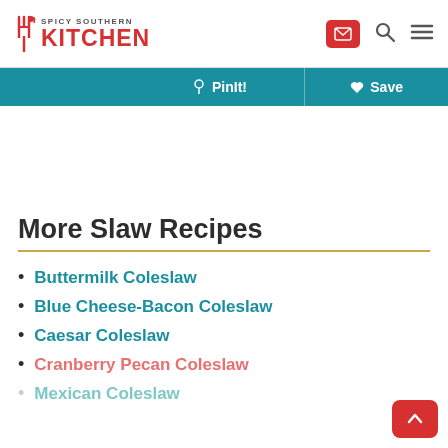Spicy Southern Kitchen — site header with logo, email, search, and menu icons
[Figure (screenshot): Teal toolbar with PinIt! and Save buttons]
More Slaw Recipes
Buttermilk Coleslaw
Blue Cheese-Bacon Coleslaw
Caesar Coleslaw
Cranberry Pecan Coleslaw
Mexican Coleslaw